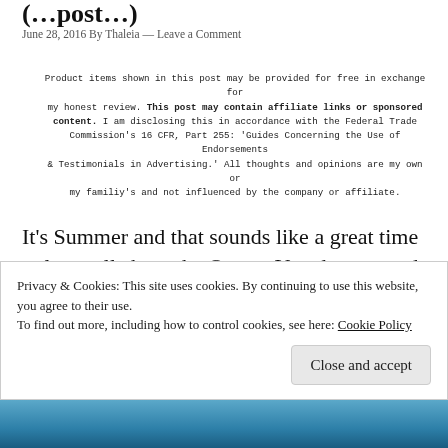(…post…)
June 28, 2016 By Thaleia — Leave a Comment
Product items shown in this post may be provided for free in exchange for my honest review. This post may contain affiliate links or sponsored content. I am disclosing this in accordance with the Federal Trade Commission's 16 CFR, Part 255: 'Guides Concerning the Use of Endorsements & Testimonials in Advertising.' All thoughts and opinions are my own or my familiy's and not influenced by the company or affiliate.
It's Summer and that sounds like a great time to learn all about the Ocean. You do not need to live near an ocean in order to enjoy all of these ocean activities, crafts, snacks, free printables, and sensory ideas. This resource post would be great to go along with Before Five in a Row
Privacy & Cookies: This site uses cookies. By continuing to use this website, you agree to their use.
To find out more, including how to control cookies, see here: Cookie Policy
[Figure (photo): Ocean/underwater themed image at the bottom of the page]